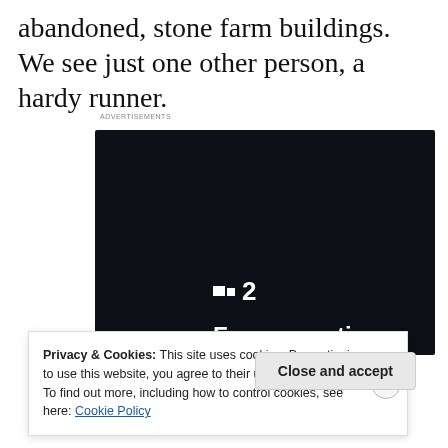abandoned, stone farm buildings. We see just one other person, a hardy runner.
[Figure (screenshot): Advertisement for a project management tool showing a dark background with the logo ':·2', tagline 'Fewer meetings, more work.' and a 'Get started for free' button.]
Privacy & Cookies: This site uses cookies. By continuing to use this website, you agree to their use. To find out more, including how to control cookies, see here: Cookie Policy
Close and accept